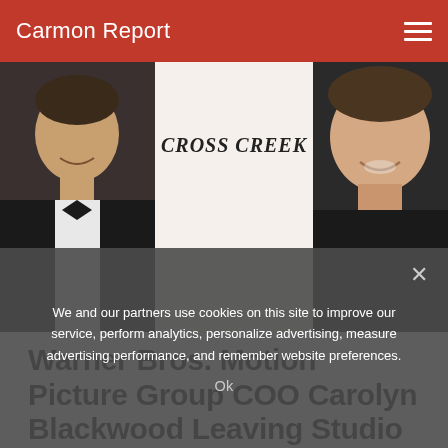Carmon Report
[Figure (photo): Left photo: man in tuxedo/bow tie, center area shows CROSS CREEK text logo, right photo: man in black shirt smiling]
Warner Bros. Motion Picture Group COO Carolyn Blackwood Leaving Studio
[Figure (photo): Partial photo at bottom of page, cropped woman with blonde hair]
We and our partners use cookies on this site to improve our service, perform analytics, personalize advertising, measure advertising performance, and remember website preferences.
Ok